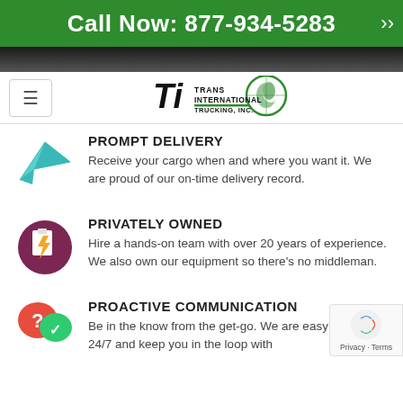Call Now: 877-934-5283
[Figure (logo): Trans International Trucking, Inc. logo with globe icon]
PROMPT DELIVERY
Receive your cargo when and where you want it. We are proud of our on-time delivery record.
PRIVATELY OWNED
Hire a hands-on team with over 20 years of experience. We also own our equipment so there's no middleman.
PROACTIVE COMMUNICATION
Be in the know from the get-go. We are easy to reach 24/7 and keep you in the loop with...